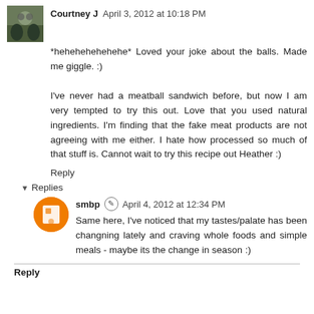Courtney J  April 3, 2012 at 10:18 PM
*hehehehehehehe* Loved your joke about the balls. Made me giggle. :)
I've never had a meatball sandwich before, but now I am very tempted to try this out. Love that you used natural ingredients. I'm finding that the fake meat products are not agreeing with me either. I hate how processed so much of that stuff is. Cannot wait to try this recipe out Heather :)
Reply
Replies
smbp  April 4, 2012 at 12:34 PM
Same here, I've noticed that my tastes/palate has been changning lately and craving whole foods and simple meals - maybe its the change in season :)
Reply